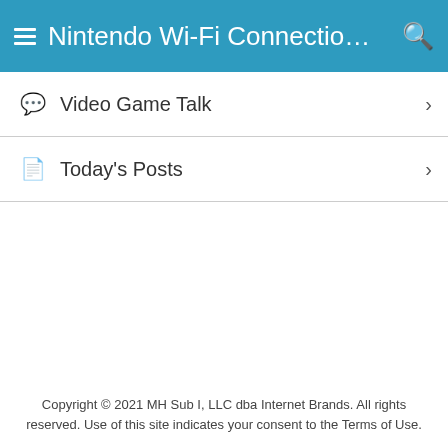Nintendo Wi-Fi Connection Frie...
Video Game Talk
Today's Posts
Copyright © 2021 MH Sub I, LLC dba Internet Brands. All rights reserved. Use of this site indicates your consent to the Terms of Use.